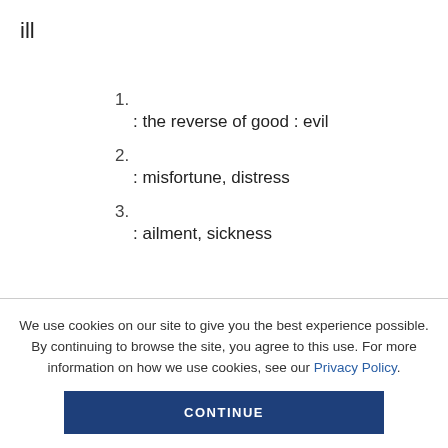ill
1. : the reverse of good : evil
2. : misfortune, distress
3. : ailment, sickness
We use cookies on our site to give you the best experience possible. By continuing to browse the site, you agree to this use. For more information on how we use cookies, see our Privacy Policy.
CONTINUE